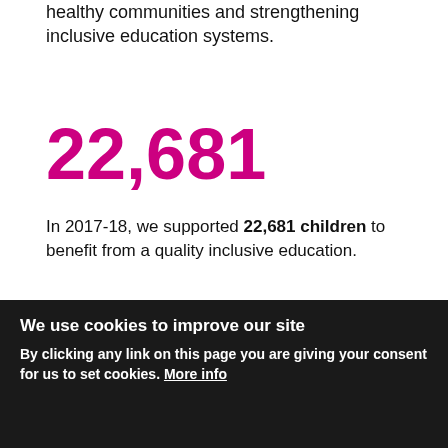healthy communities and strengthening inclusive education systems.
22,681
In 2017-18, we supported 22,681 children to benefit from a quality inclusive education.
40%
We use cookies to improve our site
By clicking any link on this page you are giving your consent for us to set cookies. More info